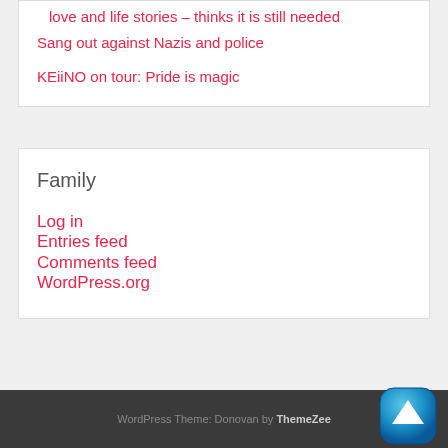love and life stories – thinks it is still needed
Sang out against Nazis and police
KEiiNO on tour: Pride is magic
Family
Log in
Entries feed
Comments feed
WordPress.org
WordPress Theme: Donovan by ThemeZee